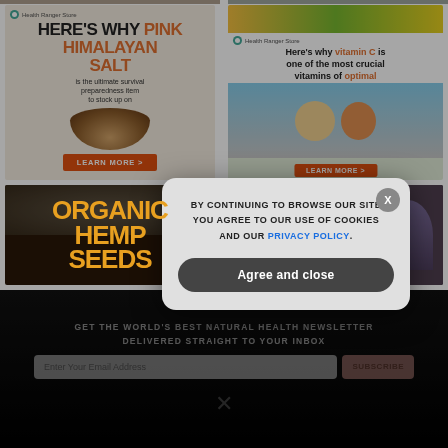[Figure (photo): Health Ranger Store ad: HERE'S WHY PINK HIMALAYAN SALT is the ultimate survival preparedness item to stock up on. LEARN MORE button. Shows wooden bowl with pink salt.]
[Figure (photo): Health Ranger Store ad: Here's why vitamin C is one of the most crucial vitamins of optimal health and well-being. LEARN MORE button. Shows two runners.]
[Figure (photo): ORGANIC HEMP SEEDS ad with dark brown/seeds background and orange text.]
[Figure (photo): Health Ranger Store: 5 HARMFUL CHEMICALS YOU MAY NOT... ad with yellow text on dark background. Shows woman holding head.]
GET THE WORLD'S BEST NATURAL HEALTH NEWSLETTER DELIVERED STRAIGHT TO YOUR INBOX
Enter Your Email Address
SUBSCRIBE
BY CONTINUING TO BROWSE OUR SITE YOU AGREE TO OUR USE OF COOKIES AND OUR PRIVACY POLICY.
Agree and close